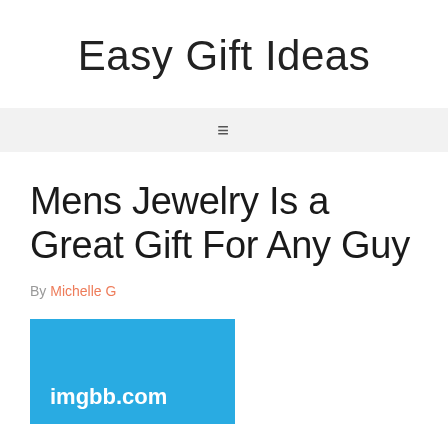Easy Gift Ideas
[Figure (other): Hamburger menu icon navigation bar]
Mens Jewelry Is a Great Gift For Any Guy
By Michelle G
[Figure (photo): Image placeholder with imgbb.com watermark on blue background]